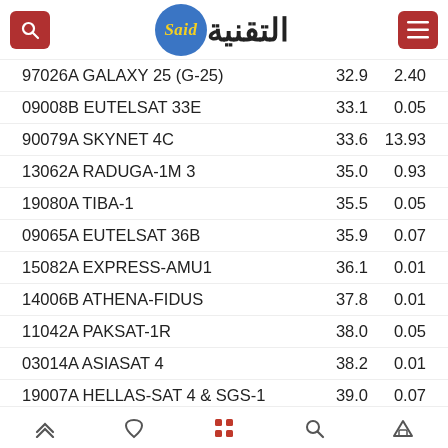Said التقنية
| ID | Name | Val1 | Val2 |
| --- | --- | --- | --- |
| 97026A | GALAXY 25 (G-25) | 32.9 | 2.40 |
| 09008B | EUTELSAT 33E | 33.1 | 0.05 |
| 90079A | SKYNET 4C | 33.6 | 13.93 |
| 13062A | RADUGA-1M 3 | 35.0 | 0.93 |
| 19080A | TIBA-1 | 35.5 | 0.05 |
| 09065A | EUTELSAT 36B | 35.9 | 0.07 |
| 15082A | EXPRESS-AMU1 | 36.1 | 0.01 |
| 14006B | ATHENA-FIDUS | 37.8 | 0.01 |
| 11042A | PAKSAT-1R | 38.0 | 0.05 |
| 03014A | ASIASAT 4 | 38.2 | 0.01 |
| 19007A | HELLAS-SAT 4 & SGS-1 | 39.0 | 0.07 |
Navigation bar